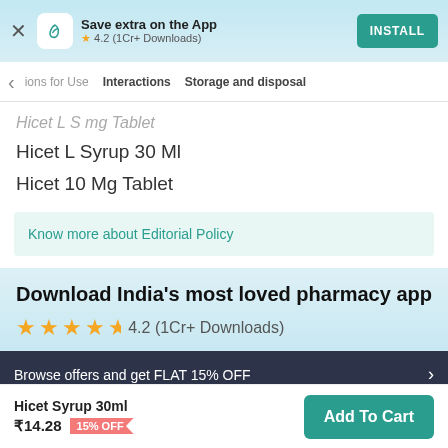[Figure (screenshot): App install banner with logo, rating 4.2 (1Cr+ Downloads), and INSTALL button]
< ions for Use   Interactions   Storage and disposal
Hicet L S mg Tablet (partially visible/truncated)
Hicet L Syrup 30 Ml
Hicet 10 Mg Tablet
Know more about Editorial Policy
Download India's most loved pharmacy app
★★★★☆ 4.2 (1Cr+ Downloads)
Browse offers and get FLAT 15% OFF  >
Hicet Syrup 30ml ₹14.28 15% OFF
Add To Cart